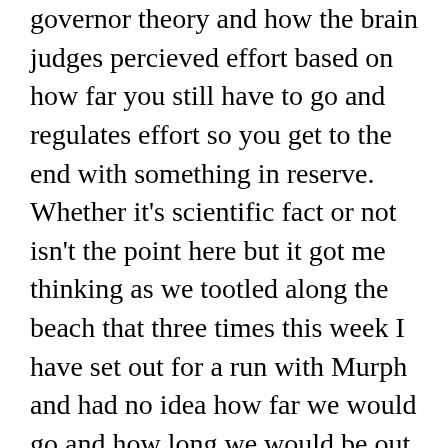governor theory and how the brain judges percieved effort based on how far you still have to go and regulates effort so you get to the end with something in reserve. Whether it's scientific fact or not isn't the point here but it got me thinking as we tootled along the beach that three times this week I have set out for a run with Murph and had no idea how far we would go and how long we would be out. The only determining factor being the weather as I don't run murph when it get's too hot.

I was musing that therefore my brain has no idea whether I have another mile, 3, 5, 7 or 10 miles to go and also has no clue how much longer I will have to maintain the effort for. So does that mean my central governor is off or muted. Who knows? It's